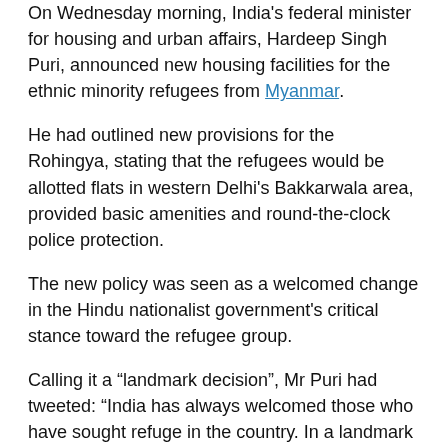On Wednesday morning, India's federal minister for housing and urban affairs, Hardeep Singh Puri, announced new housing facilities for the ethnic minority refugees from Myanmar.
He had outlined new provisions for the Rohingya, stating that the refugees would be allotted flats in western Delhi's Bakkarwala area, provided basic amenities and round-the-clock police protection.
The new policy was seen as a welcomed change in the Hindu nationalist government's critical stance toward the refugee group.
Calling it a “landmark decision”, Mr Puri had tweeted: “India has always welcomed those who have sought refuge in the country. In a landmark decision, all Rohingya refugees will be shifted to EWS flats in Bakkarwala area of Delhi.”